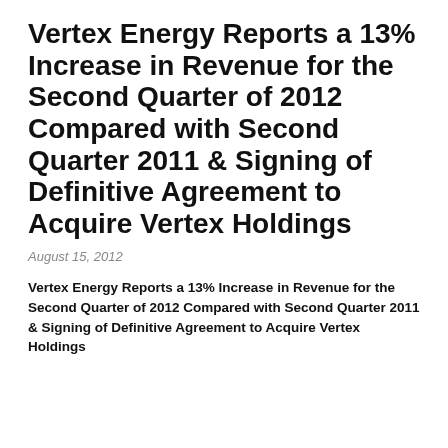Vertex Energy Reports a 13% Increase in Revenue for the Second Quarter of 2012 Compared with Second Quarter 2011 & Signing of Definitive Agreement to Acquire Vertex Holdings
August 15, 2012
Vertex Energy Reports a 13% Increase in Revenue for the Second Quarter of 2012 Compared with Second Quarter 2011 & Signing of Definitive Agreement to Acquire Vertex Holdings